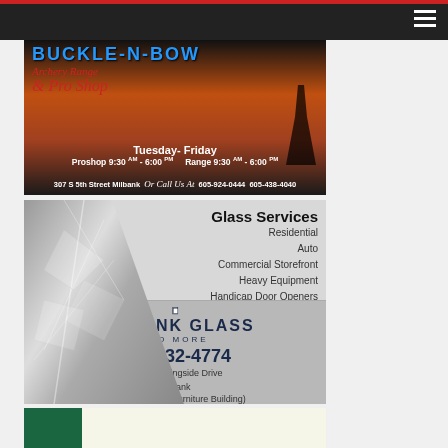[Figure (photo): Website navigation bar with dark background, red top border, and hamburger menu icon on the right]
[Figure (advertisement): Archery range and pro shop advertisement with orange sunset background. Shows hours: Tuesday-Friday, Proshop 9:30 AM - 6:00 PM, Range 9:30 AM - 6:00 PM. Address: 307 S 5th Street Milbank. Phone: 605-924-0444, 605-438-4040]
[Figure (advertisement): Milbank Glass and More advertisement showing broken glass image on left, Glass Services list (Residential, Auto, Commercial Storefront, Heavy Equipment, Handicap Door Openers, Locksmithing) on upper right, and company logo with phone 605-432-4774, address 1504 Morningside Drive, Milbank (Former Hanson Furniture Building) on lower right]